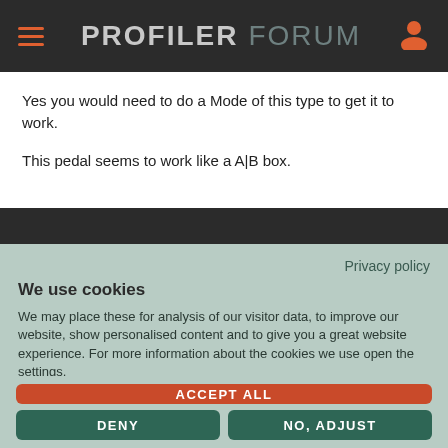PROFILER FORUM
Yes you would need to do a Mode of this type to get it to work.
This pedal seems to work like a A|B box.
Privacy policy
We use cookies
We may place these for analysis of our visitor data, to improve our website, show personalised content and to give you a great website experience. For more information about the cookies we use open the settings.
ACCEPT ALL
DENY
NO, ADJUST